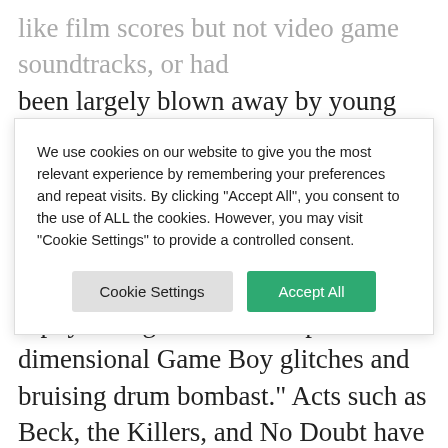like film scores but not video game soundtracks, or had been largely blown away by young people's pick'n' mix approach to culture. Today's teenagers, said Kirkhope, have got Metallica next to Kuji Kondo on
We use cookies on our website to give you the most relevant experience by remembering your preferences and repeat visits. By clicking "Accept All", you consent to the use of ALL the cookies. However, you may visit "Cookie Settings" to provide a controlled consent.
asphyxiating sheets of warped two-dimensional Game Boy glitches and bruising drum bombast." Acts such as Beck, the Killers, and No Doubt have also borrowed from video games' aural aesthetics,